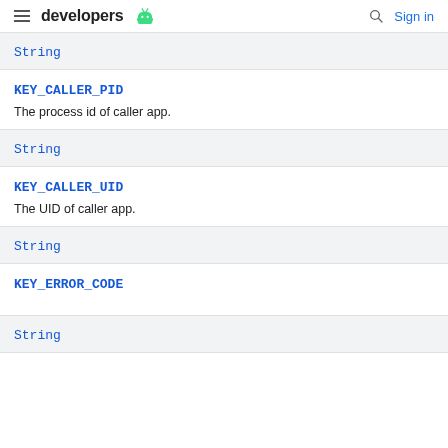developers | Sign in
String
KEY_CALLER_PID
The process id of caller app.
String
KEY_CALLER_UID
The UID of caller app.
String
KEY_ERROR_CODE
String